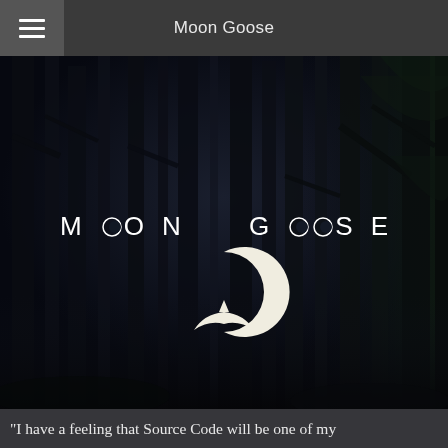Moon Goose
[Figure (illustration): Dark atmospheric forest scene with tall dark tree trunks, very low light, moody and dark blue-black tones. Overlaid with 'MOON GOOSE' text in wide spaced white letters and a white crescent moon with a flying bird/goose logo underneath.]
"I have a feeling that Source Code will be one of my